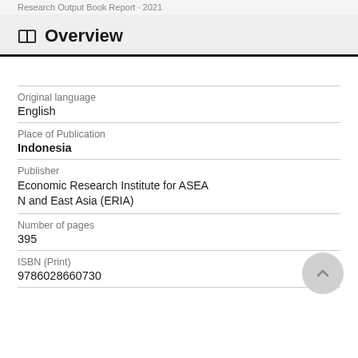Research Output Book Report · 2021
Overview
Original language
English
Place of Publication
Indonesia
Publisher
Economic Research Institute for ASEAN and East Asia (ERIA)
Number of pages
395
ISBN (Print)
9786028660730